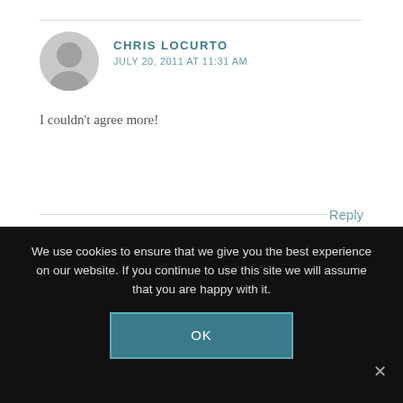CHRIS LOCURTO
JULY 20, 2011 AT 11:31 AM
I couldn't agree more!
Reply
KIM LITTLE
JULY 20, 2011 AT 2:25 PM
We use cookies to ensure that we give you the best experience on our website. If you continue to use this site we will assume that you are happy with it.
OK